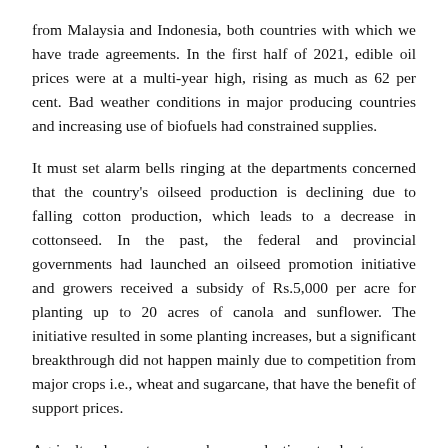from Malaysia and Indonesia, both countries with which we have trade agreements. In the first half of 2021, edible oil prices were at a multi-year high, rising as much as 62 per cent. Bad weather conditions in major producing countries and increasing use of biofuels had constrained supplies.
It must set alarm bells ringing at the departments concerned that the country's oilseed production is declining due to falling cotton production, which leads to a decrease in cottonseed. In the past, the federal and provincial governments had launched an oilseed promotion initiative and growers received a subsidy of Rs.5,000 per acre for planting up to 20 acres of canola and sunflower. The initiative resulted in some planting increases, but a significant breakthrough did not happen mainly due to competition from major crops i.e., wheat and sugarcane, that have the benefit of support prices.
Agricultural experts say soybean production stands at a very